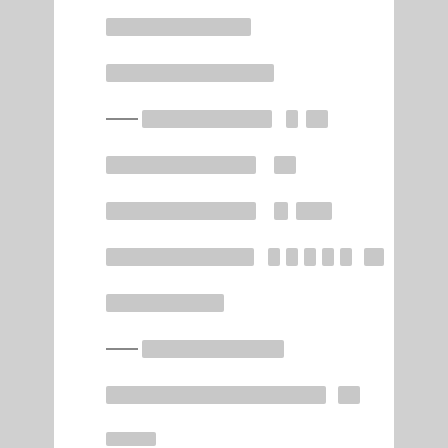█████████████████
██████████████████████
——█████████████████  █  ██
█████████████████  ██
█████████████████  █  ████
█████████████████  █  █  █  █  █  ██
█████████████████
——█████████████████
███████████████████████████████  ██
██████